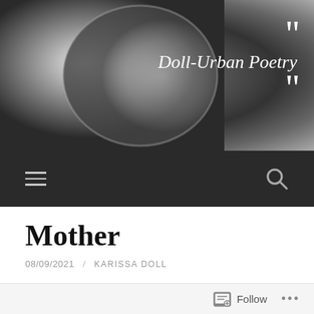[Figure (photo): Black and white portrait photo of a woman looking in a mirror, with the 'Doll-Urban Poetry' brand name and decorative quotation marks overlaid on the right side]
Navigation bar with hamburger menu icon and search icon
Mother
08/09/2021  /  KARISSA DOLL
April 15th, 2010
She walks slowly down the stairs
Hands pressed tight against the walls
Follow  ...